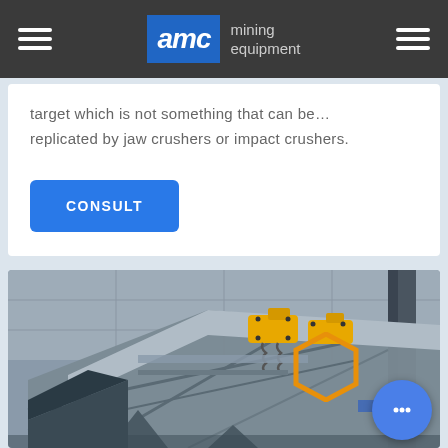AMC mining equipment
target which is not something that can be… replicated by jaw crushers or impact crushers.
CONSULT
[Figure (photo): Industrial mining vibrating screen/conveyor equipment photographed inside a large warehouse or industrial facility. The machine has a large steel frame structure tilted at an angle with yellow mechanical components (motors/vibrators) visible on top.]